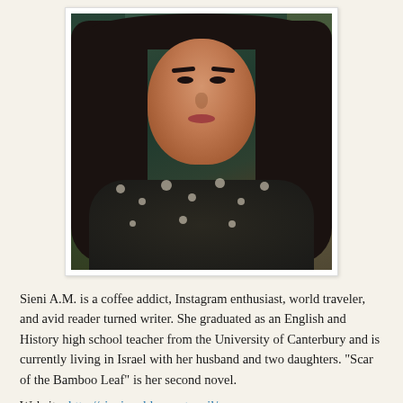[Figure (photo): Portrait photo of a young woman with long dark hair, wearing a dark floral blouse, smiling at the camera. Photo has a white polaroid-style border.]
Sieni A.M. is a coffee addict, Instagram enthusiast, world traveler, and avid reader turned writer. She graduated as an English and History high school teacher from the University of Canterbury and is currently living in Israel with her husband and two daughters. “Scar of the Bamboo Leaf” is her second novel.
Website: http://sieniam.blogspot.co.il/